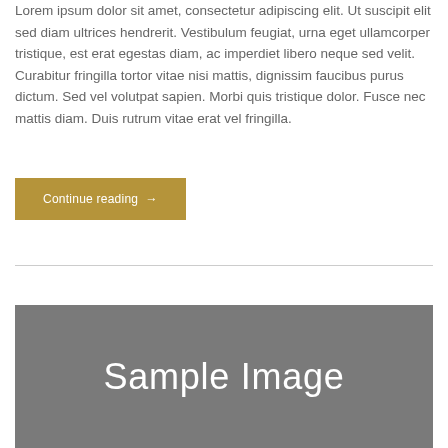Lorem ipsum dolor sit amet, consectetur adipiscing elit. Ut suscipit elit sed diam ultrices hendrerit. Vestibulum feugiat, urna eget ullamcorper tristique, est erat egestas diam, ac imperdiet libero neque sed velit. Curabitur fringilla tortor vitae nisi mattis, dignissim faucibus purus dictum. Sed vel volutpat sapien. Morbi quis tristique dolor. Fusce nec mattis diam. Duis rutrum vitae erat vel fringilla.
Continue reading →
[Figure (photo): Gray placeholder image with text 'Sample Image' in white]